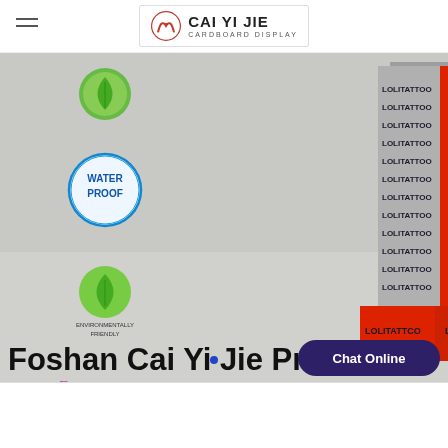CAI YI JIE CARDBOARD DISPLAY
[Figure (photo): A tall cardboard display tower with alternating grey and red panels printed with 'LOLITATTOO' branding, sitting on a red base box. On the left side of the image are quality badges: WATER PROOF, ENVIRONMENTALLY FRIENDLY, Eye Catching, and a recycling icon. The bottom of the image shows text 'Foshan Cai Yi Jie Printin' and a 'Chat Online' button.]